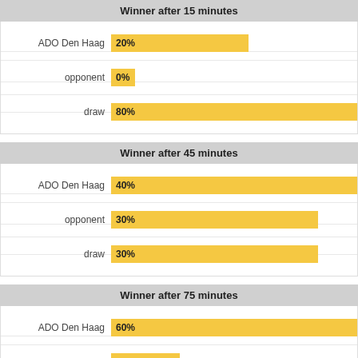[Figure (bar-chart): Winner after 15 minutes]
[Figure (bar-chart): Winner after 45 minutes]
[Figure (bar-chart): Winner after 75 minutes]